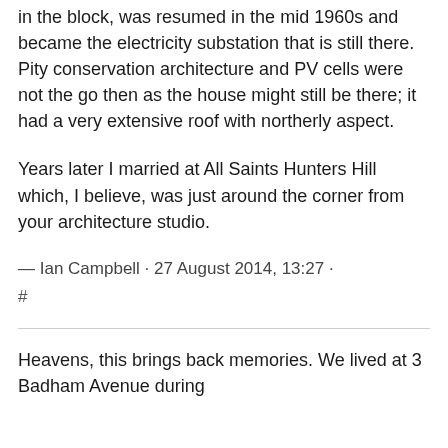in the block, was resumed in the mid 1960s and became the electricity substation that is still there. Pity conservation architecture and PV cells were not the go then as the house might still be there; it had a very extensive roof with northerly aspect.
Years later I married at All Saints Hunters Hill which, I believe, was just around the corner from your architecture studio.
— Ian Campbell · 27 August 2014, 13:27 · #
Heavens, this brings back memories. We lived at 3 Badham Avenue during